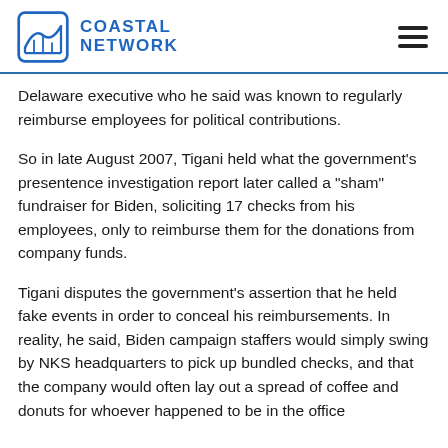COASTAL NETWORK
Delaware executive who he said was known to regularly reimburse employees for political contributions.
So in late August 2007, Tigani held what the government’s presentence investigation report later called a “sham” fundraiser for Biden, soliciting 17 checks from his employees, only to reimburse them for the donations from company funds.
Tigani disputes the government’s assertion that he held fake events in order to conceal his reimbursements. In reality, he said, Biden campaign staffers would simply swing by NKS headquarters to pick up bundled checks, and that the company would often lay out a spread of coffee and donuts for whoever happened to be in the office